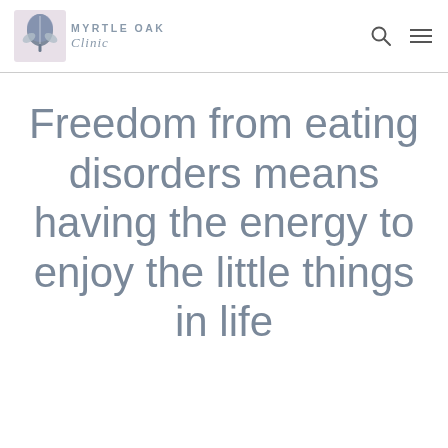[Figure (logo): Myrtle Oak Clinic logo with stylized leaf/acorn icon and clinic name]
Freedom from eating disorders means having the energy to enjoy the little things in life